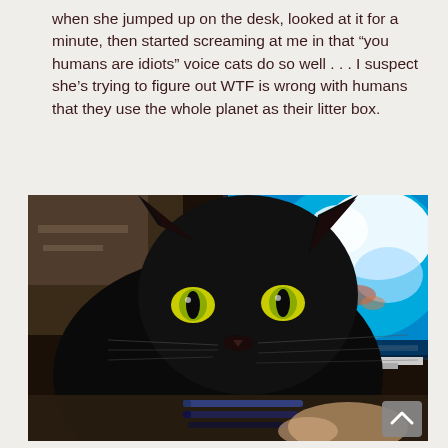when she jumped up on the desk, looked at it for a minute, then started screaming at me in that “you humans are idiots” voice cats do so well . . . I suspect she’s trying to figure out WTF is wrong with humans that they use the whole planet as their litter box.
[Figure (photo): A black cat with bright green eyes sits in front of an iMac computer monitor displaying a blue and white image of Earth from space. Pens and other items are visible on the desk in the foreground. A scroll-to-top button (upward chevron on gray background) is visible in the bottom-right corner of the image.]